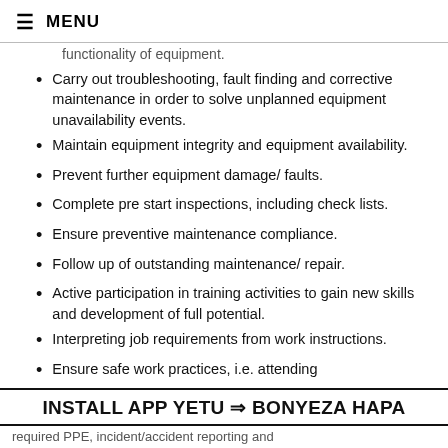MENU
functionality of equipment.
Carry out troubleshooting, fault finding and corrective maintenance in order to solve unplanned equipment unavailability events.
Maintain equipment integrity and equipment availability.
Prevent further equipment damage/ faults.
Complete pre start inspections, including check lists.
Ensure preventive maintenance compliance.
Follow up of outstanding maintenance/ repair.
Active participation in training activities to gain new skills and development of full potential.
Interpreting job requirements from work instructions.
Ensure safe work practices, i.e. attending
INSTALL APP YETU ⇒ BONYEZA HAPA
required PPE, incident/accident reporting and